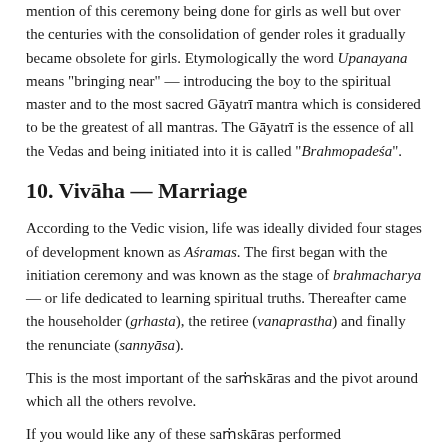mention of this ceremony being done for girls as well but over the centuries with the consolidation of gender roles it gradually became obsolete for girls. Etymologically the word Upanayana means "bringing near" — introducing the boy to the spiritual master and to the most sacred Gāyatrī mantra which is considered to be the greatest of all mantras. The Gāyatrī is the essence of all the Vedas and being initiated into it is called "Brahmopadeśa".
10. Vivāha — Marriage
According to the Vedic vision, life was ideally divided four stages of development known as Aśramas. The first began with the initiation ceremony and was known as the stage of brahmacharya — or life dedicated to learning spiritual truths. Thereafter came the householder (grhasta), the retiree (vanaprastha) and finally the renunciate (sannyāsa).
This is the most important of the saṁskāras and the pivot around which all the others revolve.
If you would like any of these saṁskāras performed